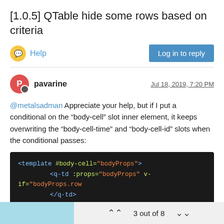[1.0.5] QTable hide some rows based on criteria
Help
Log in to reply
pavarine
Jul 18, 2019, 7:20 PM
@metalsadman Appreciate your help, but if I put a conditional on the “body-cell” slot inner element, it keeps overwriting the “body-cell-time” and “body-cell-id” slots when the conditional passes:
[Figure (screenshot): Code block showing HTML template with body-cell slot and q-td element with v-if condition]
If row.status === ‘Logged Out’ then the empty <q-td> is rendered (no row at all, wanted effect) but when row.status !== ‘Logged Out’ then nothings got rendered cause the body-cell slot overlaps the
3 out of 8